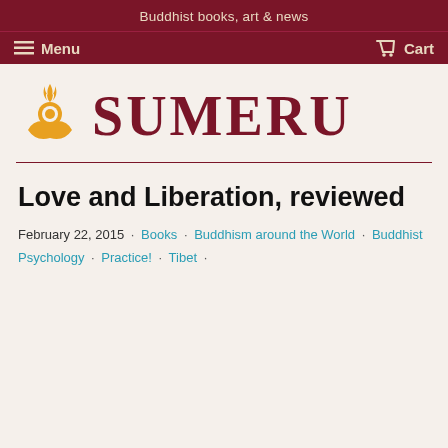Buddhist books, art & news
Menu   Cart
[Figure (logo): Sumeru logo: golden flame-topped orb with crescent moon base, beside large dark-red serif text reading SUMERU]
Love and Liberation, reviewed
February 22, 2015 · Books · Buddhism around the World · Buddhist Psychology · Practice! · Tibet ·